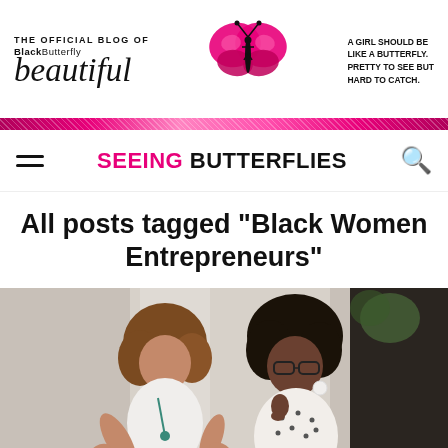THE OFFICIAL BLOG OF BlackButterfly beautiful — A GIRL SHOULD BE LIKE A BUTTERFLY. PRETTY TO SEE BUT HARD TO CATCH.
SEEING BUTTERFLIES
All posts tagged "Black Women Entrepreneurs"
[Figure (photo): Two Black women in conversation, one with curly auburn hair wearing a white top and teal necklace gesturing with her hands, the other with natural hair wearing glasses and a white polka-dot blouse touching her chin thoughtfully]